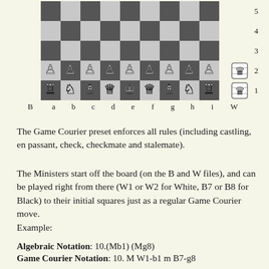[Figure (other): Chess board showing initial position with 9 files (a-i) and 5 visible ranks (1-5). Bottom two rows show pieces: rank 1 has rook, knight, bishop, queen, king, queen, bishop, knight, rook; rank 2 has 9 pawns. Side boxes on W column show minister pieces at ranks 1 and 2. B and W labels on file labels row.]
The Game Courier preset enforces all rules (including castling, en passant, check, checkmate and stalemate).
The Ministers start off the board (on the B and W files), and can be played right from there (W1 or W2 for White, B7 or B8 for Black) to their initial squares just as a regular Game Courier move.
Example:
Algebraic Notation: 10.(Mb1) (Mg8)
Game Courier Notation: 10. M W1-b1 m B7-g8